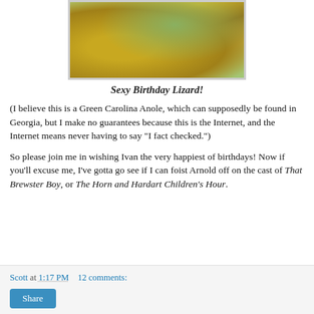[Figure (photo): Close-up photograph of a Green Carolina Anole lizard on a corn cob or similar plant, with green and yellow coloring, blurred background]
Sexy Birthday Lizard!
(I believe this is a Green Carolina Anole, which can supposedly be found in Georgia, but I make no guarantees because this is the Internet, and the Internet means never having to say "I fact checked.")
So please join me in wishing Ivan the very happiest of birthdays! Now if you'll excuse me, I've gotta go see if I can foist Arnold off on the cast of That Brewster Boy, or The Horn and Hardart Children's Hour.
Scott at 1:17 PM    12 comments: